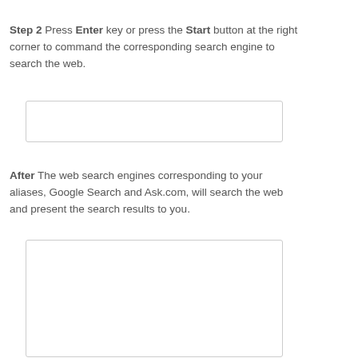Step 2 Press Enter key or press the Start button at the right corner to command the corresponding search engine to search the web.
[Figure (screenshot): A blank white input box with a light gray border, representing a browser search bar after pressing Enter.]
After The web search engines corresponding to your aliases, Google Search and Ask.com, will search the web and present the search results to you.
[Figure (screenshot): A larger blank white box with a light gray border, representing a browser window showing search results.]